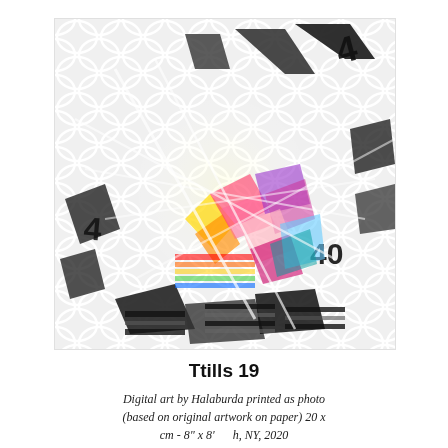[Figure (illustration): Abstract digital art showing overlapping geometric shapes, numbers, and colors including a colorful circular area with rainbow hues in the center, overlaid on a white lattice/scale pattern background with black and white angular shapes and partial numbers visible (4, 40, etc.)]
Ttills 19
Digital art by Halaburda printed as photo (based on original artwork on paper) 20 x cm - 8" x 8" h, NY, 2020